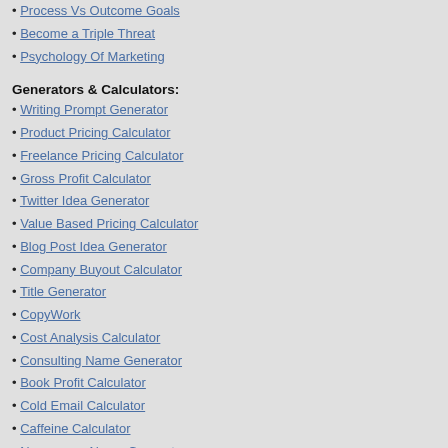• Process Vs Outcome Goals
• Become a Triple Threat
• Psychology Of Marketing
Generators & Calculators:
• Writing Prompt Generator
• Product Pricing Calculator
• Freelance Pricing Calculator
• Gross Profit Calculator
• Twitter Idea Generator
• Value Based Pricing Calculator
• Blog Post Idea Generator
• Company Buyout Calculator
• Title Generator
• CopyWork
• Cost Analysis Calculator
• Consulting Name Generator
• Book Profit Calculator
• Cold Email Calculator
• Caffeine Calculator
• Newspaper Name Generator